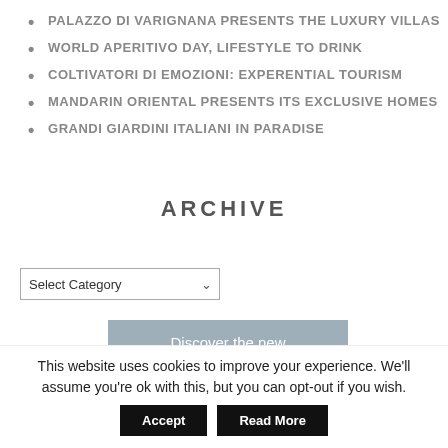PALAZZO DI VARIGNANA PRESENTS THE LUXURY VILLAS
WORLD APERITIVO DAY, LIFESTYLE TO DRINK
COLTIVATORI DI EMOZIONI: EXPERENTIAL TOURISM
MANDARIN ORIENTAL PRESENTS ITS EXCLUSIVE HOMES
GRANDI GIARDINI ITALIANI IN PARADISE
ARCHIVE
[Figure (screenshot): A dropdown select box labeled 'Select Category' with a chevron arrow on the right]
[Figure (photo): Banner image with muted blue-grey background showing text 'Discover the new Coral-Line by']
This website uses cookies to improve your experience. We'll assume you're ok with this, but you can opt-out if you wish.
Accept   Read More